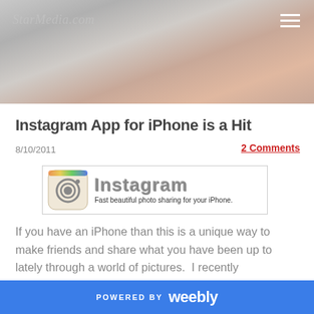[Figure (photo): Header image showing hands on a light grey/white background with StarMedia.com watermark text and hamburger menu icon in top right]
Instagram App for iPhone is a Hit
8/10/2011
2 Comments
[Figure (logo): Instagram logo banner: camera icon on left, Instagram text in grey 3D lettering, tagline: Fast beautiful photo sharing for your iPhone.]
If you have an iPhone than this is a unique way to make friends and share what you have been up to lately through a world of pictures.  I recently downloaded the
POWERED BY  weebly